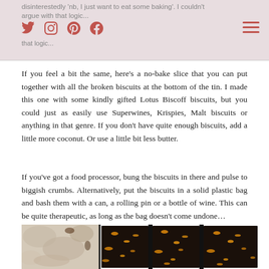disinterestedly 'nb, I just want to eat some baking'. I couldn't argue with that logic...
If you feel a bit the same, here's a no-bake slice that you can put together with all the broken biscuits at the bottom of the tin. I made this one with some kindly gifted Lotus Biscoff biscuits, but you could just as easily use Superwines, Krispies, Malt biscuits or anything in that genre. If you don't have quite enough biscuits, add a little more coconut. Or use a little bit less butter.
If you've got a food processor, bung the biscuits in there and pulse to biggish crumbs. Alternatively, put the biscuits in a solid plastic bag and bash them with a can, a rolling pin or a bottle of wine. This can be quite therapeutic, as long as the bag doesn't come undone…
[Figure (photo): Photo of no-bake biscuit slices with dark chocolate topping and orange flecks, alongside a coconut biscuit base texture]